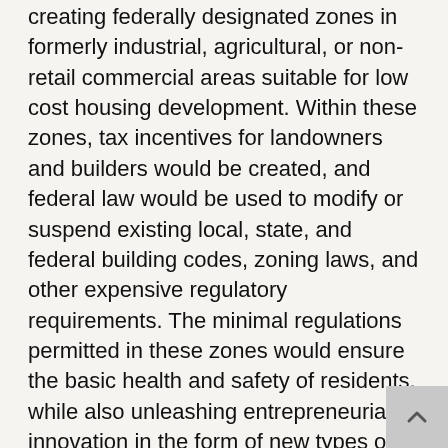creating federally designated zones in formerly industrial, agricultural, or non-retail commercial areas suitable for low cost housing development. Within these zones, tax incentives for landowners and builders would be created, and federal law would be used to modify or suspend existing local, state, and federal building codes, zoning laws, and other expensive regulatory requirements. The minimal regulations permitted in these zones would ensure the basic health and safety of residents, while also unleashing entrepreneurial innovation in the form of new types of inexpensive manufactured housing, “tiny houses,” 3D printed houses, and similar dwellings that would be relatively cheap to build and thus easily rented or purchased by people experiencing homelessness.
The Council of Economic Advisers 2019 report on “The State of Homelessness in America” conservatively estimates that “for the 11 metropolitan areas with housing regulations that drive home prices significantly above home production costs (which contain 42